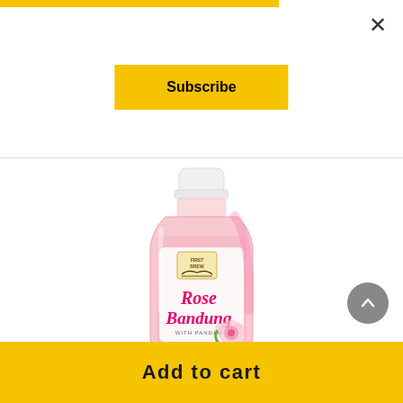[Figure (other): Yellow top bar strip]
×
Subscribe
[Figure (photo): First Brew Rose Bandung With Pandan drink in a pink plastic bottle with a white cap, featuring the Rose Bandung label with pink script text and rose imagery]
Add to cart